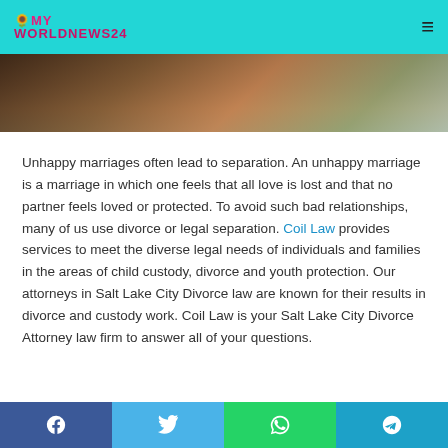MY WORLDNEWS24
[Figure (photo): Dark blurred background image, appears to show a close-up of a person or object, dark browns and tans]
Unhappy marriages often lead to separation. An unhappy marriage is a marriage in which one feels that all love is lost and that no partner feels loved or protected. To avoid such bad relationships, many of us use divorce or legal separation. Coil Law provides services to meet the diverse legal needs of individuals and families in the areas of child custody, divorce and youth protection. Our attorneys in Salt Lake City Divorce law are known for their results in divorce and custody work. Coil Law is your Salt Lake City Divorce Attorney law firm to answer all of your questions.
Facebook | Twitter | WhatsApp | Telegram